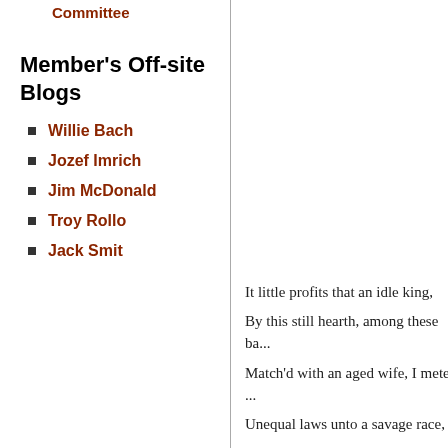Committee
Member's Off-site Blogs
Willie Bach
Jozef Imrich
Jim McDonald
Troy Rollo
Jack Smit
It little profits that an idle king,
By this still hearth, among these ba...
Match'd with an aged wife, I mete ...
Unequal laws unto a savage race,